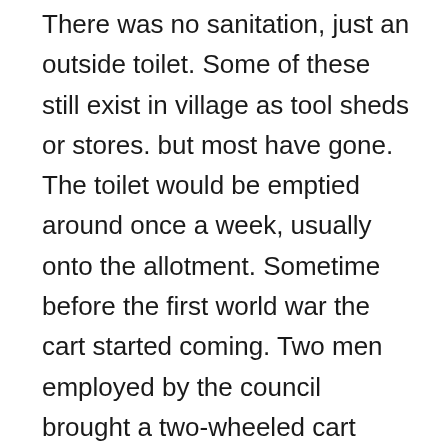There was no sanitation, just an outside toilet. Some of these still exist in village as tool sheds or stores. but most have gone. The toilet would be emptied around once a week, usually onto the allotment. Sometime before the first world war the cart started coming. Two men employed by the council brought a two-wheeled cart pulled by horse to collect the toilet contents. It was then taken away for disposal. It had only two wheels to allow it to tip for emptying.
There was no gas or electricity. Gas came to the village just before the first world war via the Bugbrooke gasworks. Electricity didn't come until after the second war. For light there were candles and oil lamps. For cooking there was a range